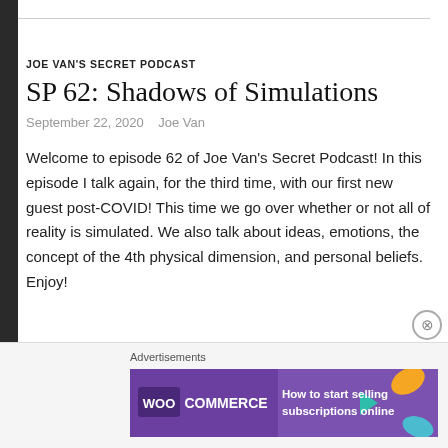JOE VAN'S SECRET PODCAST
SP 62: Shadows of Simulations
September 22, 2020   Joe Van
Welcome to episode 62 of Joe Van's Secret Podcast! In this episode I talk again, for the third time, with our first new guest post-COVID! This time we go over whether or not all of reality is simulated. We also talk about ideas, emotions, the concept of the 4th physical dimension, and personal beliefs. Enjoy!
[Figure (infographic): WooCommerce advertisement banner: 'How to start selling subscriptions online']